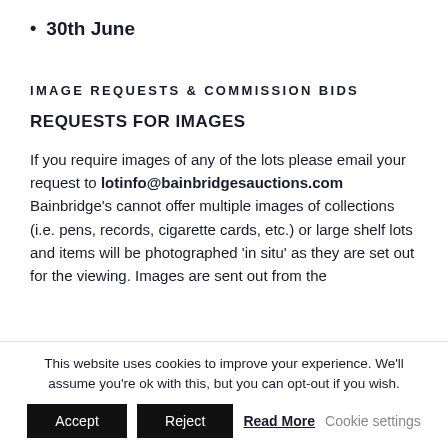30th June
IMAGE REQUESTS & COMMISSION BIDS
REQUESTS FOR IMAGES
If you require images of any of the lots please email your request to lotinfo@bainbridgesauctions.com Bainbridge's cannot offer multiple images of collections (i.e. pens, records, cigarette cards, etc.) or large shelf lots and items will be photographed 'in situ' as they are set out for the viewing. Images are sent out from the
This website uses cookies to improve your experience. We'll assume you're ok with this, but you can opt-out if you wish.
Accept  Reject  Read More  Cookie settings